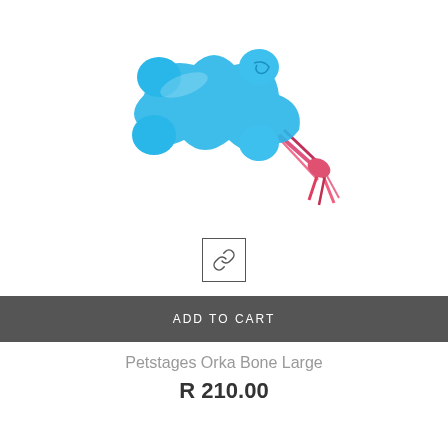[Figure (photo): Blue rubber bone-shaped dog toy with red/pink rope tassel attachment, shown on white background]
[Figure (other): Small square button with chain link icon, bordered box]
ADD TO CART
Petstages Orka Bone Large
R 210.00
[Figure (photo): Purple plush monster toy with green accents, partially visible at bottom of page]
[Figure (other): Teal heart wishlist icon button (square, bottom left)]
[Figure (other): Teal circular chat/messenger icon button (bottom right)]